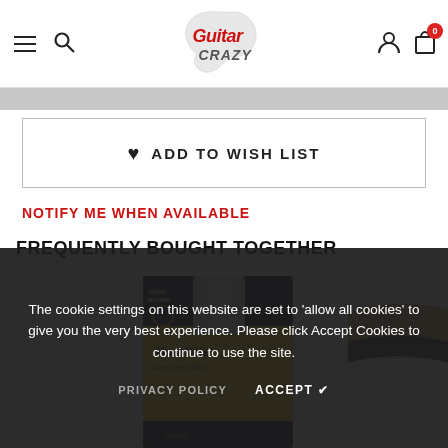[Figure (screenshot): Guitar Crazy website header with hamburger menu, search icon, Guitar Crazy logo (guitar graphic with stylized text), user account icon, and cart icon with red badge showing 0]
ADD TO WISH LIST
NOTIFY ME WHEN AVAILABLE
FREQUENTLY BOUGHT TOGETHER
[Figure (photo): Product image of Music Nomad Humilele ukulele humidifier in packaging (yellow and black)]
[Figure (photo): Partial product image showing what appears to be a guitar accessory or tool]
The cookie settings on this website are set to 'allow all cookies' to give you the very best experience. Please click Accept Cookies to continue to use the site.
PRIVACY POLICY
ACCEPT ✔